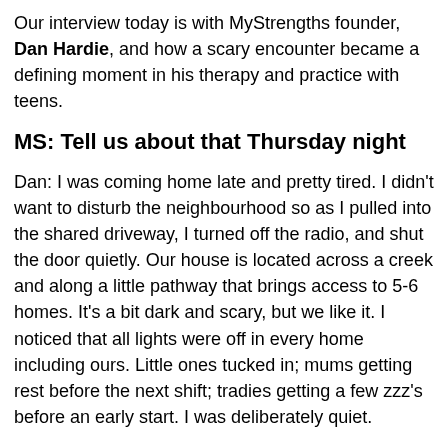Our interview today is with MyStrengths founder, Dan Hardie, and how a scary encounter became a defining moment in his therapy and practice with teens.
MS: Tell us about that Thursday night
Dan: I was coming home late and pretty tired. I didn't want to disturb the neighbourhood so as I pulled into the shared driveway, I turned off the radio, and shut the door quietly. Our house is located across a creek and along a little pathway that brings access to 5-6 homes. It's a bit dark and scary, but we like it. I noticed that all lights were off in every home including ours. Little ones tucked in; mums getting rest before the next shift; tradies getting a few zzz's before an early start. I was deliberately quiet.
Then suddenly, right in front of me was a dark shadow